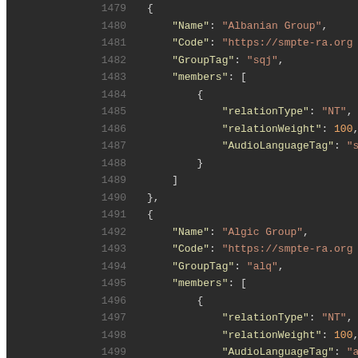[Figure (screenshot): Code editor screenshot showing JSON data with line numbers 1479–1499. The JSON contains two language group objects: Albanian Group (GroupTag: sqj, member with relationType NT, relationWeight 100, AudioLanguageTag sq) and Algic Group (GroupTag: alq, member with relationType NT, relationWeight 100, AudioLanguageTag arp).]